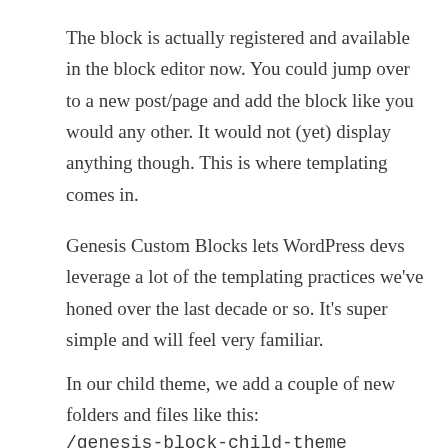The block is actually registered and available in the block editor now. You could jump over to a new post/page and add the block like you would any other. It would not (yet) display anything though. This is where templating comes in.
Genesis Custom Blocks lets WordPress devs leverage a lot of the templating practices we've honed over the last decade or so. It's super simple and will feel very familiar.
In our child theme, we add a couple of new folders and files like this:
/genesis-block-child-theme